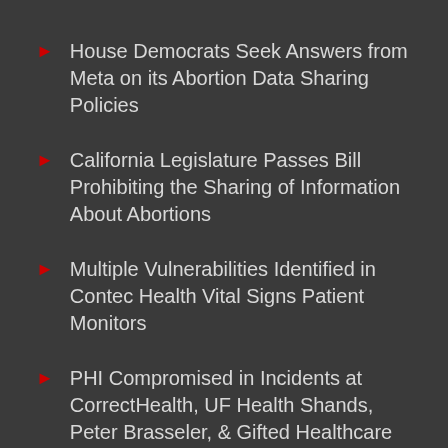House Democrats Seek Answers from Meta on its Abortion Data Sharing Policies
California Legislature Passes Bill Prohibiting the Sharing of Information About Abortions
Multiple Vulnerabilities Identified in Contec Health Vital Signs Patient Monitors
PHI Compromised in Incidents at CorrectHealth, UF Health Shands, Peter Brasseler, & Gifted Healthcare